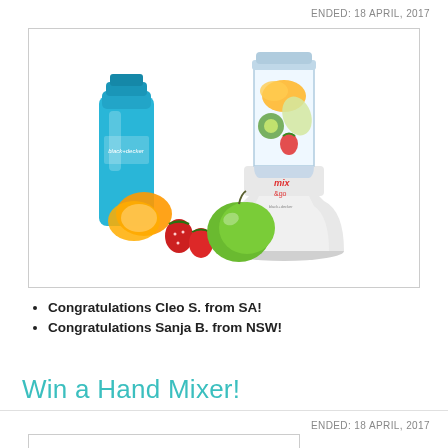ENDED: 18 APRIL, 2017
[Figure (photo): A Mix & Go personal blender in white with a filled blending cup containing fruits (mango, apple, kiwi, strawberries), a blue water bottle, and fruits (orange slices, strawberries, green apple) arranged in front.]
Congratulations Cleo S. from SA!
Congratulations Sanja B. from NSW!
Win a Hand Mixer!
ENDED: 18 APRIL, 2017